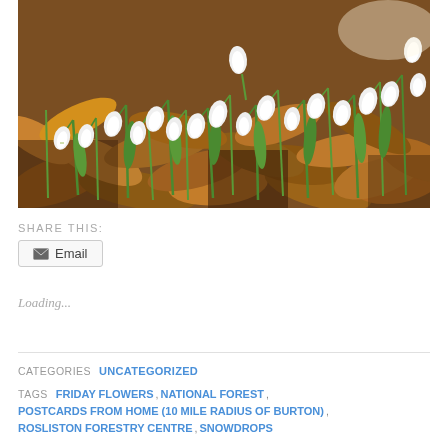[Figure (photo): Snowdrop flowers with white drooping blossoms and green stems growing among brown autumn leaves on a forest floor, photographed in natural sunlight]
SHARE THIS:
Email
Loading...
CATEGORIES UNCATEGORIZED
TAGS FRIDAY FLOWERS, NATIONAL FOREST, POSTCARDS FROM HOME (10 MILE RADIUS OF BURTON), ROSLISTON FORESTRY CENTRE, SNOWDROPS